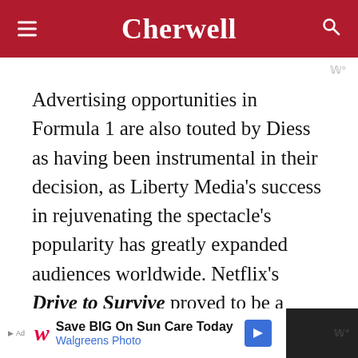Cherwell
Advertising opportunities in Formula 1 are also touted by Diess as having been instrumental in their decision, as Liberty Media’s success in rejuvenating the spectacle’s popularity has greatly expanded audiences worldwide. Netflix’s Drive to Survive proved to be a huge draw for new fans, especially in North America: last year, McLaren CEO Zak Brown described the show as having be the “single most important impact for Formula in the region. Growth in the Americas has been a
[Figure (other): Walgreens Photo advertisement banner: Save BIG On Sun Care Today]